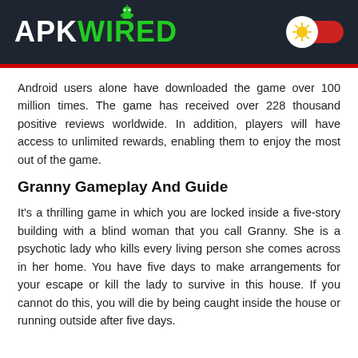APK WIRED
Android users alone have downloaded the game over 100 million times. The game has received over 228 thousand positive reviews worldwide. In addition, players will have access to unlimited rewards, enabling them to enjoy the most out of the game.
Granny Gameplay And Guide
It's a thrilling game in which you are locked inside a five-story building with a blind woman that you call Granny. She is a psychotic lady who kills every living person she comes across in her home. You have five days to make arrangements for your escape or kill the lady to survive in this house. If you cannot do this, you will die by being caught inside the house or running outside after five days.